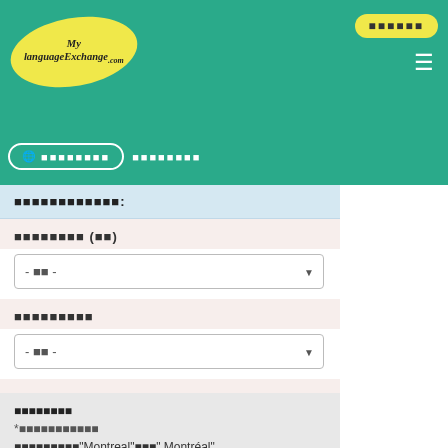[Figure (logo): MyLanguageExchange.com logo in yellow oval on teal header with hamburger menu and navigation buttons]
ใช้ตัวกรอง:
ประเทศ (ภา)
- ทั้ง -
ภาษาพูด
- ทั้ง -
เมือง
ทั่วโลก
หมายเหตุ
*ค้นหาด้วยชื่อเมือง
คุณสามารถพิมพ์"Montreal"หรือ" Montréal"
หรือพิมพ์"Rome"หรือ"Roma"ก็ได้